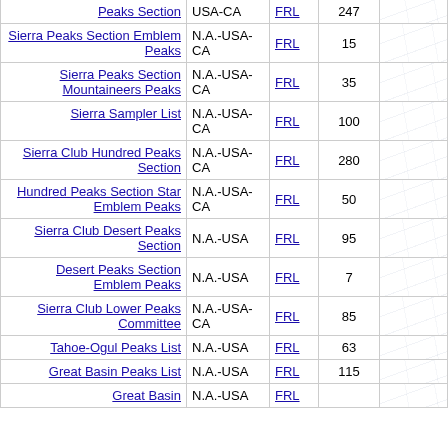| List Name | Region | Type | Count |  |  |  |
| --- | --- | --- | --- | --- | --- | --- |
| Peaks Section | USA-CA | FRL | 247 |  |  |  |
| Sierra Peaks Section Emblem Peaks | N.A.-USA-CA | FRL | 15 |  |  |  |
| Sierra Peaks Section Mountaineers Peaks | N.A.-USA-CA | FRL | 35 |  |  |  |
| Sierra Sampler List | N.A.-USA-CA | FRL | 100 |  |  |  |
| Sierra Club Hundred Peaks Section | N.A.-USA-CA | FRL | 280 |  |  |  |
| Hundred Peaks Section Star Emblem Peaks | N.A.-USA-CA | FRL | 50 |  |  |  |
| Sierra Club Desert Peaks Section | N.A.-USA | FRL | 95 |  |  |  |
| Desert Peaks Section Emblem Peaks | N.A.-USA | FRL | 7 |  |  |  |
| Sierra Club Lower Peaks Committee | N.A.-USA-CA | FRL | 85 |  |  |  |
| Tahoe-Ogul Peaks List | N.A.-USA | FRL | 63 |  |  |  |
| Great Basin Peaks List | N.A.-USA | FRL | 115 |  |  |  |
| Great Basin ... | N.A.-USA | FRL | ... |  |  |  |